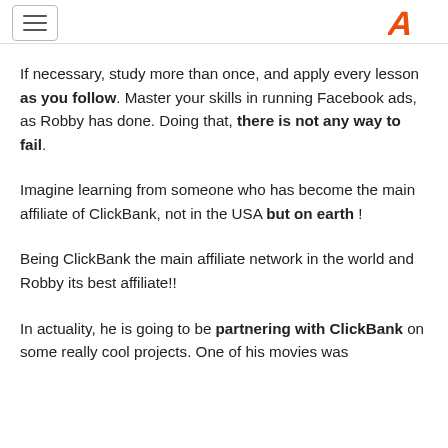[hamburger menu icon] [A logo]
If necessary, study more than once, and apply every lesson as you follow. Master your skills in running Facebook ads, as Robby has done. Doing that, there is not any way to fail.
Imagine learning from someone who has become the main affiliate of ClickBank, not in the USA but on earth !
Being ClickBank the main affiliate network in the world and Robby its best affiliate!!
In actuality, he is going to be partnering with ClickBank on some really cool projects. One of his movies was